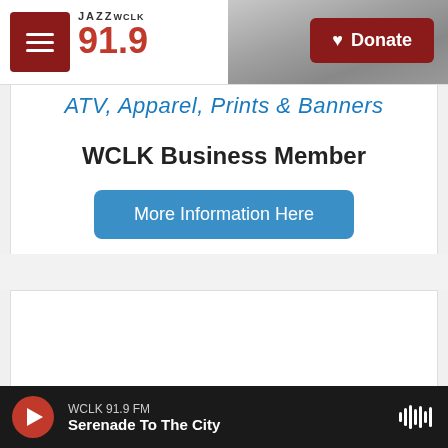JAZZ WCLK 91.9 — Donate
ATV, Apparel, Prints & Banners
WCLK Business Member
More Information Here
WCLK 91.9 FM — Serenade To The City